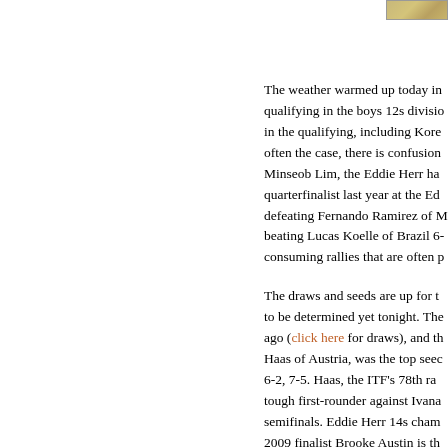[Figure (photo): Small image in top right corner, appears to be a tennis-related photo with golden/tan tones]
The weather warmed up today in qualifying in the boys 12s division in the qualifying, including Kore often the case, there is confusion Minseob Lim, the Eddie Herr ha quarterfinalist last year at the Ed defeating Fernando Ramirez of M beating Lucas Koelle of Brazil 6- consuming rallies that are often p
The draws and seeds are up for t to be determined yet tonight. The ago (click here for draws), and th Haas of Austria, was the top seec 6-2, 7-5. Haas, the ITF's 78th ra tough first-rounder against Ivana semifinals. Eddie Herr 14s cham 2009 finalist Brooke Austin is th